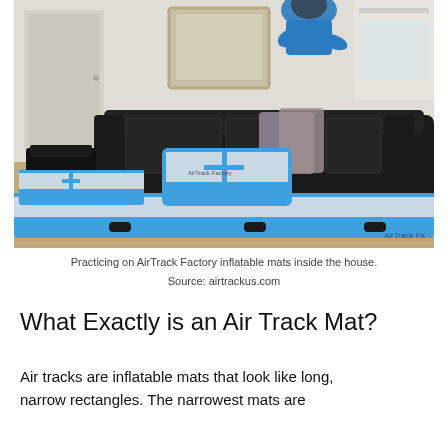[Figure (photo): A person practicing gymnastics on blue AirTrack Factory inflatable mats inside a living room, with a black leather sofa in the background.]
Practicing on AirTrack Factory inflatable mats inside the house.
Source: airtrackus.com
What Exactly is an Air Track Mat?
Air tracks are inflatable mats that look like long, narrow rectangles. The narrowest mats are